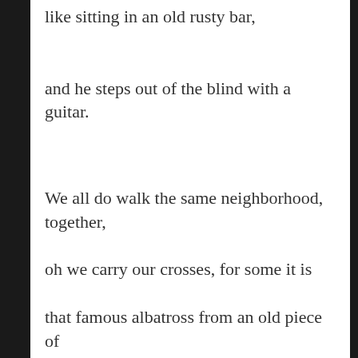like sitting in an old rusty bar,
and he steps out of the blind with a guitar.
We all do walk the same neighborhood, together,
oh we carry our crosses, for some it is
that famous albatross from an old piece of
literature,